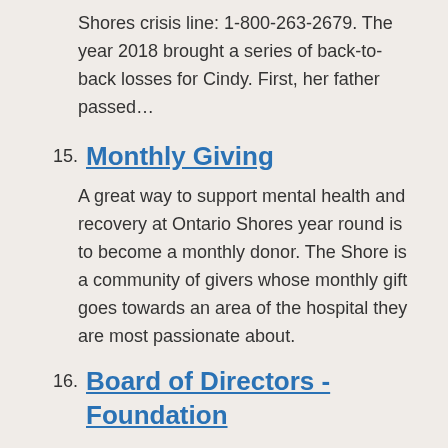Shores crisis line: 1-800-263-2679. The year 2018 brought a series of back-to-back losses for Cindy. First, her father passed…
15. Monthly Giving
A great way to support mental health and recovery at Ontario Shores year round is to become a monthly donor. The Shore is a community of givers whose monthly gift goes towards an area of the hospital they are most passionate about.
16. Board of Directors - Foundation
Often behind the scenes, this passionate and dedicated group of people volunteer much of their time to mental health and recovery…